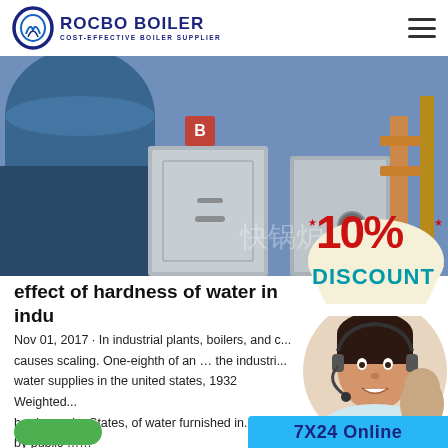ROCBO BOILER — COST-EFFECTIVE BOILER SUPPLIER
[Figure (photo): Industrial boiler equipment in a factory setting — large blue cylindrical boiler and stainless steel rectangular units]
[Figure (infographic): 10% DISCOUNT badge overlay]
effect of hardness of water in indu...
Nov 01, 2017 · In industrial plants, boilers, and c... causes scaling. One-eighth of an … the industri... water supplies in the united states, 1932 Weighted... hardness, by States, of water furnished in. 1932 by public …...
[Figure (photo): Customer service agent wearing headset, smiling]
7X24 Online